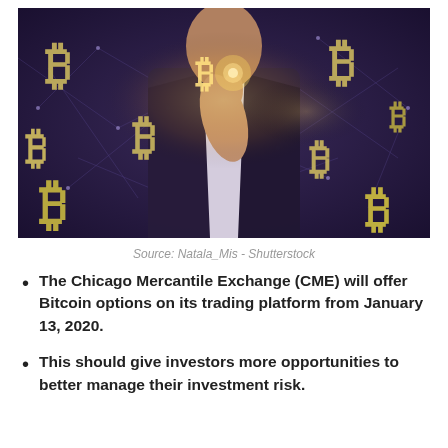[Figure (photo): A person in a suit touching a glowing Bitcoin symbol surrounded by multiple floating Bitcoin (₿) logos and a connected network/constellation background, representing cryptocurrency and blockchain technology.]
Source: Natala_Mis - Shutterstock
The Chicago Mercantile Exchange (CME) will offer Bitcoin options on its trading platform from January 13, 2020.
This should give investors more opportunities to better manage their investment risk.